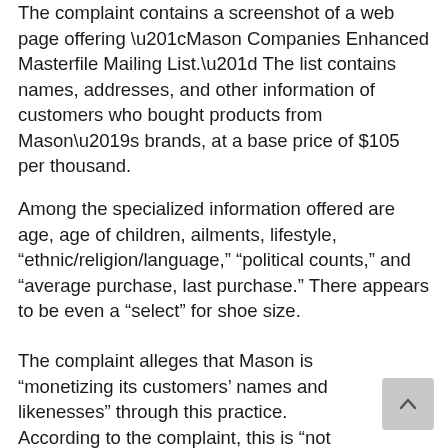The complaint contains a screenshot of a web page offering “Mason Companies Enhanced Masterfile Mailing List.” The list contains names, addresses, and other information of customers who bought products from Mason’s brands, at a base price of $105 per thousand.
Among the specialized information offered are age, age of children, ailments, lifestyle, “ethnic/religion/language,” “political counts,” and “average purchase, last purchase.” There appears to be even a “select” for shoe size.
The complaint alleges that Mason is “monetizing its customers’ names and likenesses” through this practice. According to the complaint, this is “not only unlawful, but also dangerous because it allows any member of the public … to target particular customers, including vulnerable members of society” according to their demographics, characteristics, and preferences